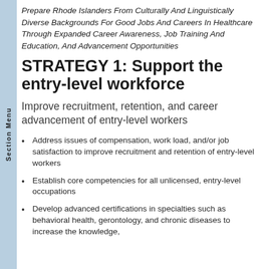Prepare Rhode Islanders From Culturally And Linguistically Diverse Backgrounds For Good Jobs And Careers In Healthcare Through Expanded Career Awareness, Job Training And Education, And Advancement Opportunities
STRATEGY 1: Support the entry-level workforce
Improve recruitment, retention, and career advancement of entry-level workers
Address issues of compensation, work load, and/or job satisfaction to improve recruitment and retention of entry-level workers
Establish core competencies for all unlicensed, entry-level occupations
Develop advanced certifications in specialties such as behavioral health, gerontology, and chronic diseases to increase the knowledge,